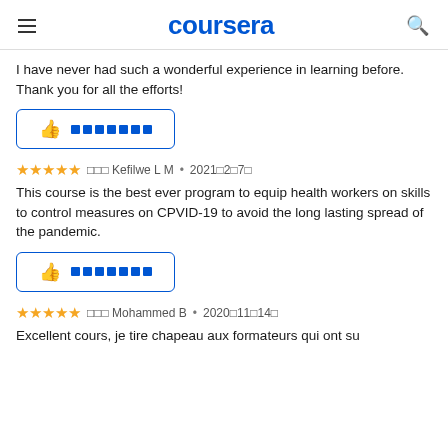coursera
I have never had such a wonderful experience in learning before. Thank you for all the efforts!
[Figure (other): Helpful thumbs-up button with blue border and square placeholder icons]
⭐⭐⭐⭐⭐ 由 Kefilwe L M • 2021年2月7日
This course is the best ever program to equip health workers on skills to control measures on CPVID-19 to avoid the long lasting spread of the pandemic.
[Figure (other): Helpful thumbs-up button with blue border and square placeholder icons]
⭐⭐⭐⭐⭐ 由 Mohammed B • 2020年11月14日
Excellent cours, je tire chapeau aux formateurs qui ont su